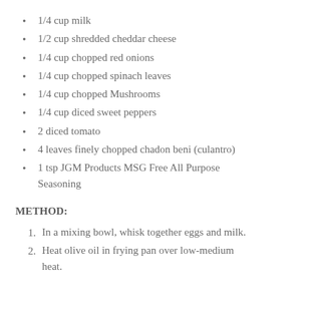1/4 cup milk
1/2 cup shredded cheddar cheese
1/4 cup chopped red onions
1/4 cup chopped spinach leaves
1/4 cup chopped Mushrooms
1/4 cup diced sweet peppers
2 diced tomato
4 leaves finely chopped chadon beni (culantro)
1 tsp JGM Products MSG Free All Purpose Seasoning
METHOD:
In a mixing bowl, whisk together eggs and milk.
Heat olive oil in frying pan over low-medium heat.